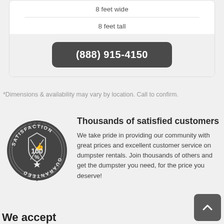8 feet wide
8 feet tall
(888) 915-4150
*Dimensions & availability may vary by location. Call to confirm.
Thousands of satisfied customers
[Figure (illustration): Circular satisfaction guarantee badge reading SATISFACTION 100% GUARANTEED]
We take pride in providing our community with great prices and excellent customer service on dumpster rentals. Join thousands of others and get the dumpster you need, for the price you deserve!
We accept